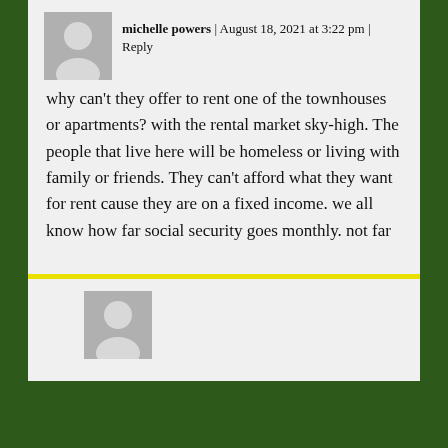[Figure (illustration): Gray placeholder avatar silhouette icon]
michelle powers | August 18, 2021 at 3:22 pm | Reply
why can't they offer to rent one of the townhouses or apartments? with the rental market sky-high. The people that live here will be homeless or living with family or friends. They can't afford what they want for rent cause they are on a fixed income. we all know how far social security goes monthly. not far
[Figure (illustration): Gray placeholder avatar silhouette icon for second comment]